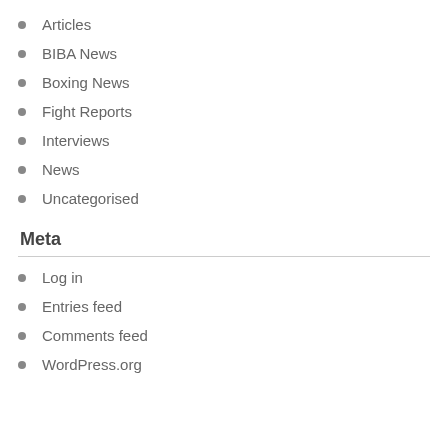Articles
BIBA News
Boxing News
Fight Reports
Interviews
News
Uncategorised
Meta
Log in
Entries feed
Comments feed
WordPress.org